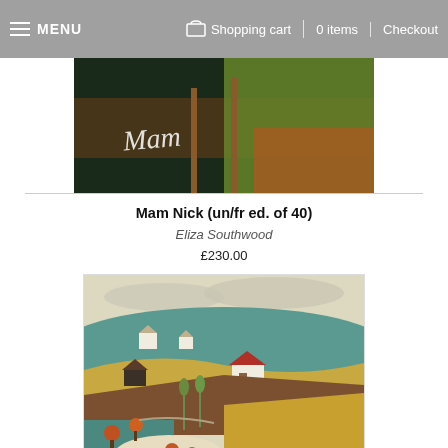MENU | Shopping cart | 0 items | Checkout
[Figure (photo): Partial view of an artwork showing bicycles with white script lettering on dark background with green and orange elements]
Mam Nick (un/fr ed. of 40)
Eliza Southwood
£230.00
[Figure (illustration): Colorful illustrated landscape painting showing rural farmland with rolling hills, farmhouses with red roofs, fields in golden, teal and brown tones, autumn trees with orange and red foliage, and a pale sky with soft clouds]
Liege-Bastogne-Liege (un/fr ed. of 30)
Eliza Southwood
£230.00